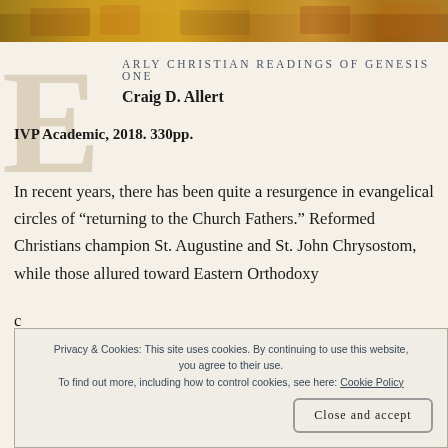[Figure (illustration): Decorative mosaic or painting strip at top of page, warm golden/reddish tones with foliage or figures]
ARLY CHRISTIAN READINGS OF GENESIS ONE
Craig D. Allert
IVP Academic, 2018. 330pp.
In recent years, there has been quite a resurgence in evangelical circles of “returning to the Church Fathers.” Reformed Christians champion St. Augustine and St. John Chrysostom, while those allured toward Eastern Orthodoxy
Privacy & Cookies: This site uses cookies. By continuing to use this website, you agree to their use. To find out more, including how to control cookies, see here: Cookie Policy
Close and accept